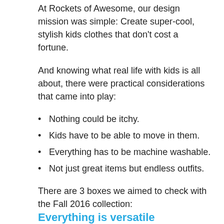At Rockets of Awesome, our design mission was simple: Create super-cool, stylish kids clothes that don't cost a fortune.
And knowing what real life with kids is all about, there were practical considerations that came into play:
Nothing could be itchy.
Kids have to be able to move in them.
Everything has to be machine washable.
Not just great items but endless outfits.
There are 3 boxes we aimed to check with the Fall 2016 collection:
Everything is versatile